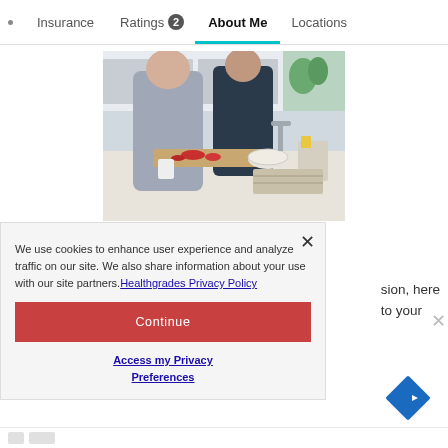· Insurance  Ratings 2  About Me  Locations
[Figure (photo): Two people standing at a kitchen counter, one chopping vegetables on a cutting board. Kitchen setting with sink, bowls, and food items visible.]
We use cookies to enhance user experience and analyze traffic on our site. We also share information about your use with our site partners. Healthgrades Privacy Policy
Continue
Access my Privacy Preferences